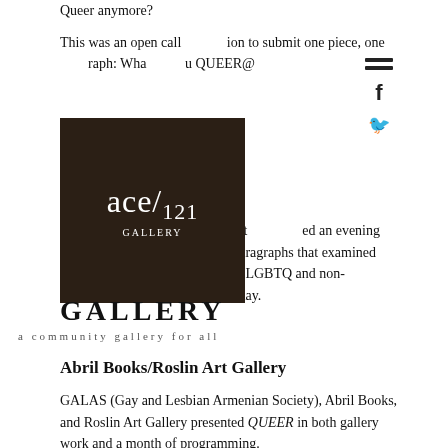Queer anymore?
This was an open call [icon] ion to submit one piece, one [icon] raph: Wha[t makes yo]u QUEER@
[Figure (logo): ace/121 GALLERY logo — dark brown square with white text 'ace/121' and subtitle 'a community gallery for all']
On J[une,] ace/121 and Homo-Cent[er present]ed an evening of r[eadings] rel[y] around the paragraphs that examined the evolution of a word and how LGBTQ and non-LGBTQ alike identify with it today.
Abril Books/Roslin Art Gallery
GALAS (Gay and Lesbian Armenian Society), Abril Books, and Roslin Art Gallery presented QUEER in both gallery work and a month of programming.